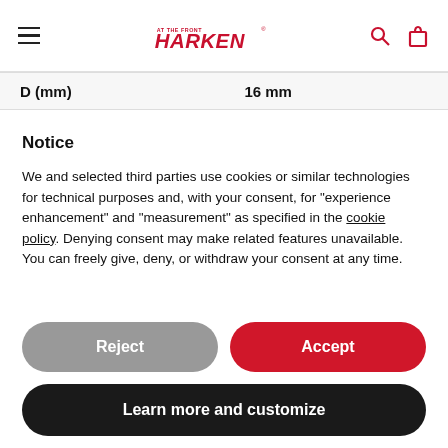Harken navigation bar with hamburger menu, Harken logo, search and cart icons
| D (mm) | 16 mm |
| --- | --- |
Notice
We and selected third parties use cookies or similar technologies for technical purposes and, with your consent, for “experience enhancement” and “measurement” as specified in the cookie policy. Denying consent may make related features unavailable.
You can freely give, deny, or withdraw your consent at any time.
Reject
Accept
Learn more and customize